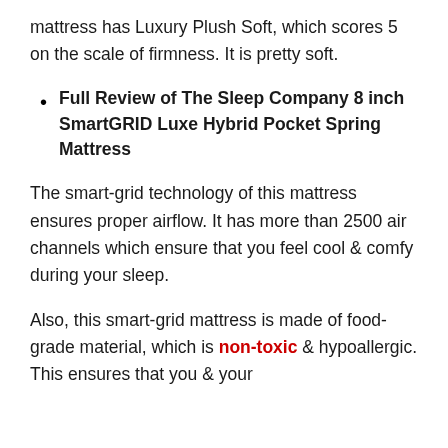mattress has Luxury Plush Soft, which scores 5 on the scale of firmness. It is pretty soft.
Full Review of The Sleep Company 8 inch SmartGRID Luxe Hybrid Pocket Spring Mattress
The smart-grid technology of this mattress ensures proper airflow. It has more than 2500 air channels which ensure that you feel cool & comfy during your sleep.
Also, this smart-grid mattress is made of food-grade material, which is non-toxic & hypoallergic. This ensures that you & your